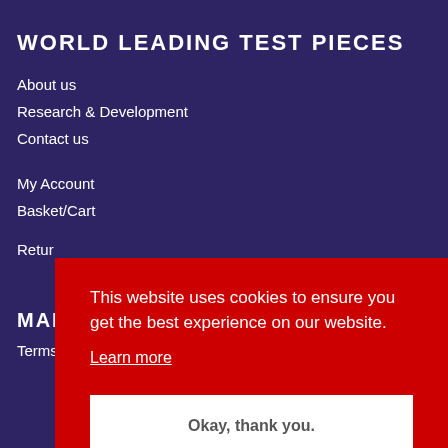WORLD LEADING TEST PIECES
About us
Research & Development
Contact us
My Account
Basket/Cart
Retur…
MAD…
Terms & Conditions
This website uses cookies to ensure you get the best experience on our website.
Learn more
Okay, thank you.